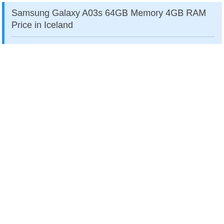Samsung Galaxy A03s 64GB Memory 4GB RAM Price in Iceland